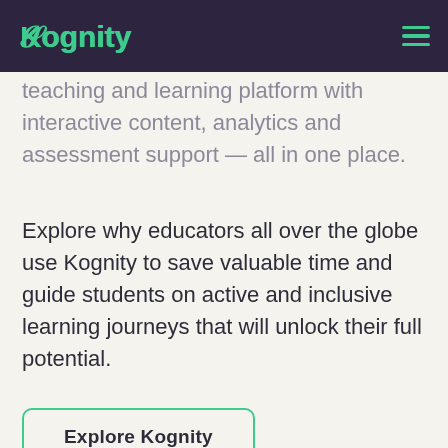Kognity
Alongside Kognity's curriculum-aligned teaching and learning platform with interactive content, analytics and assessment support — all in one place.
Explore why educators all over the globe use Kognity to save valuable time and guide students on active and inclusive learning journeys that will unlock their full potential.
Explore Kognity